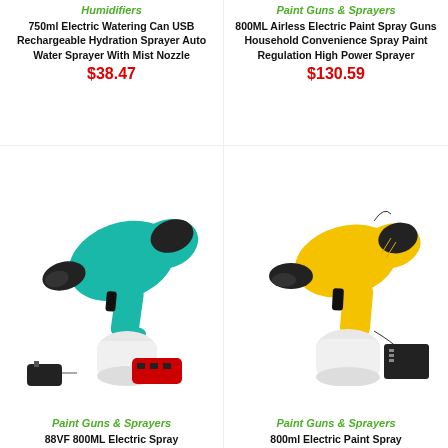Humidifiers
750ml Electric Watering Can USB Rechargeable Hydration Sprayer Auto Water Sprayer With Mist Nozzle
$38.47
Paint Guns & Sprayers
800ML Airless Electric Paint Spray Guns Household Convenience Spray Paint Regulation High Power Sprayer
$130.59
[Figure (photo): Teal/green cordless electric paint spray gun with white container cup, charger and red battery pack]
Paint Guns & Sprayers
88VF 800ML Electric Spray
[Figure (photo): Yellow and black electric paint spray gun with white container cup and power cord]
Paint Guns & Sprayers
800ml Electric Paint Spray